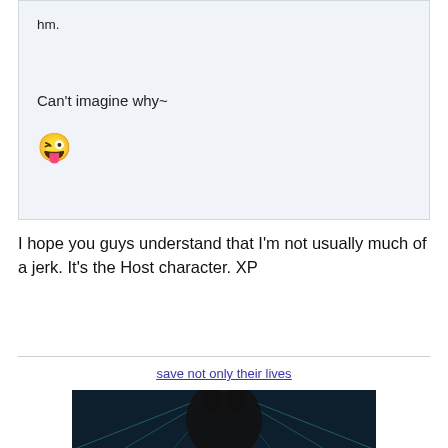hm.
Can't imagine why~
[Figure (illustration): Yellow smiley face emoji with tongue out / winking]
I hope you guys understand that I'm not usually much of a jerk. It's the Host character. XP
save not only their lives
[Figure (illustration): Dark silhouette of an anime-style character with light rays in background, dark blue/teal tones]